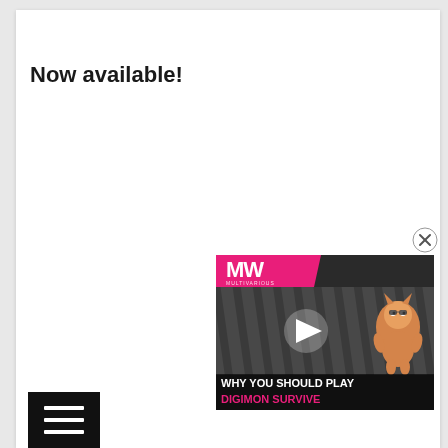Now available!
[Figure (screenshot): Video overlay showing MW (Multivarious) logo in pink, with a Digimon character, a play button, and text reading 'WHY YOU SHOULD PLAY DIGIMON SURVIVE'. A close (X) button appears in the top-right of the overlay.]
[Figure (other): Black hamburger menu button (three horizontal lines) in the bottom-left corner]